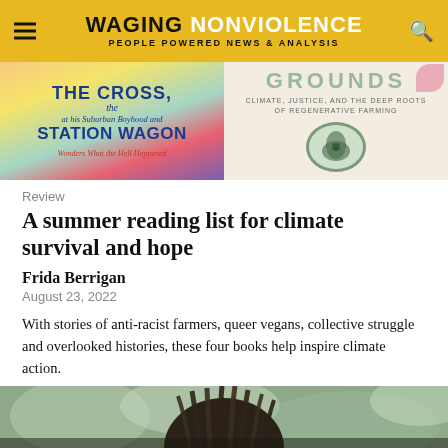WAGING NONVIOLENCE — PEOPLE POWERED NEWS & ANALYSIS
[Figure (photo): Book covers strip showing two books: 'The Cross, the Station Wagon' and 'Grounds: Climate, Justice, and the Deep Roots of Regenerative Farming']
Review
A summer reading list for climate survival and hope
Frida Berrigan
August 23, 2022
With stories of anti-racist farmers, queer vegans, collective struggle and overlooked histories, these four books help inspire climate action.
[Figure (photo): Bottom portion of a photo showing a person with dreadlocks against a blurred green background]